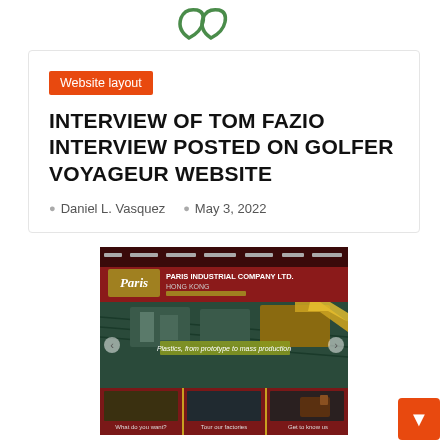[Figure (logo): Website logo mark — two overlapping curved shapes in green]
Website layout
INTERVIEW OF TOM FAZIO INTERVIEW POSTED ON GOLFER VOYAGEUR WEBSITE
Daniel L. Vasquez   May 3, 2022
[Figure (screenshot): Screenshot of Paris Industrial Company Ltd. Hong Kong website, red background with gold logo, factory imagery, navigation bar at top.]